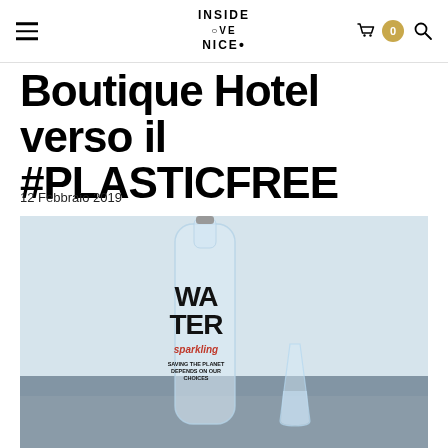INSIDE•VE NICE•
Boutique Hotel verso il #PLASTICFREE
12 Febbraio 2019
[Figure (photo): Glass bottle labeled WATER sparkling with text 'SAVING THE PLANET DEPENDS ON OUR CHOICES' next to a glass of water, on a table with light blue background]